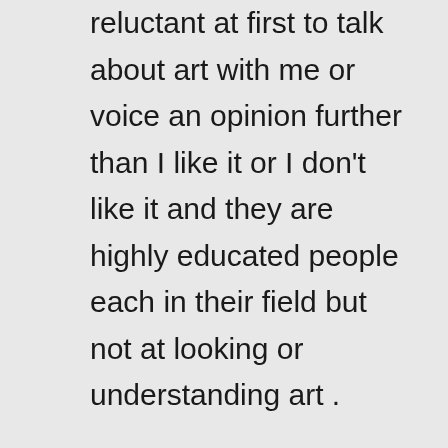My colleagues at school were very reluctant at first to talk about art with me or voice an opinion further than I like it or I don't like it and they are highly educated people each in their field but not at looking or understanding art . In class while teaching art history I stressed what is underneath the picture and the kids loved it. Teaching Renaissance art for example we looked at the geometric lines and shapes underlying and supporting the structure ,the composition .This developed in a game and the kids were all over the artworks